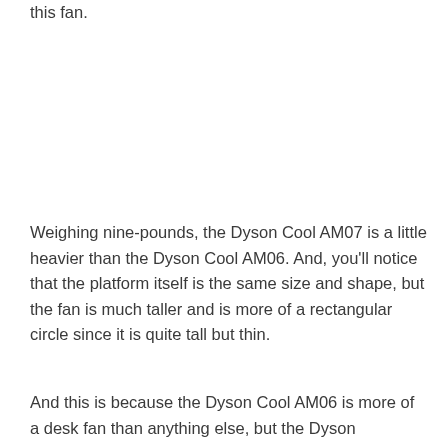this fan.
Weighing nine-pounds, the Dyson Cool AM07 is a little heavier than the Dyson Cool AM06. And, you'll notice that the platform itself is the same size and shape, but the fan is much taller and is more of a rectangular circle since it is quite tall but thin.
And this is because the Dyson Cool AM06 is more of a desk fan than anything else, but the Dyson